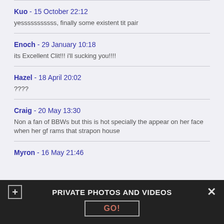Kuo - 15 October 22:12
yesssssssssss, finally some existent tit pair
Enoch - 29 January 10:18
its Excellent Clit!!! i'll sucking you!!!!
Hazel - 18 April 20:02
????
Craig - 20 May 13:30
Non a fan of BBWs but this is hot specially the appear on her face when her gf rams that strapon house
Myron - 16 May 21:46
PRIVATE PHOTOS AND VIDEOS
GO!